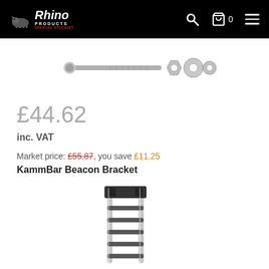Rhino Products - navigation bar with search, cart (0), and menu icons
[Figure (photo): Hardware components - bolt, nut, and washers on white background]
£44.62
inc. VAT
Market price: £55.87, you save £11.25
KammBar Beacon Bracket
[Figure (photo): KammBar Beacon Bracket product - aluminium ladder-style bracket on white background]